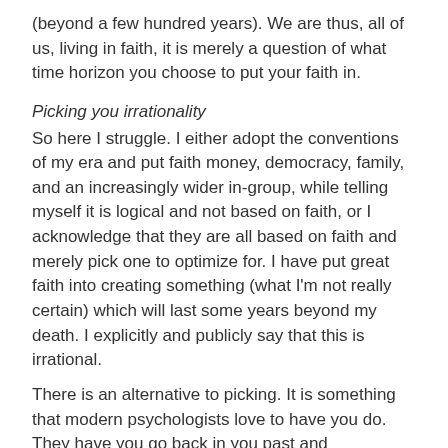(beyond a few hundred years).  We are thus, all of us, living in faith, it is merely a question of what time horizon you choose to put your faith in.
Picking you irrationality
So here I struggle.  I either adopt the conventions of my era and put faith money, democracy, family, and an increasingly wider in-group, while telling myself it is logical and not based on faith, or I acknowledge that they are all based on faith and merely pick one to optimize for.  I have put great faith into creating something (what I'm not really certain) which will last some years beyond my death.  I explicitly and publicly say that this is irrational.
There is an alternative to picking.  It is something that modern psychologists love to have you do.  They have you go back in you past and understand what relationships, and models you have in your brain that you are trying to